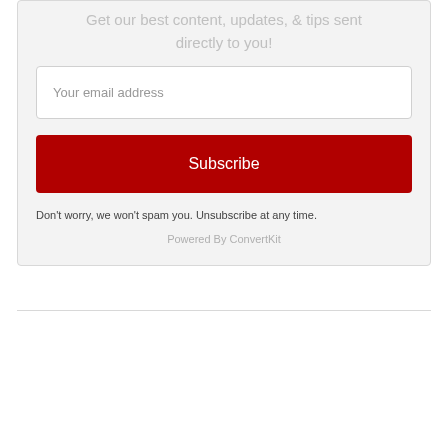Get our best content, updates, & tips sent directly to you!
Your email address
Subscribe
Don't worry, we won't spam you. Unsubscribe at any time.
Powered By ConvertKit